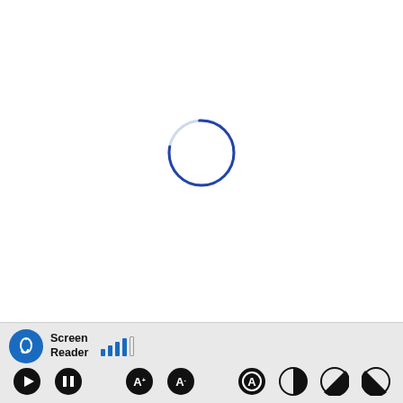[Figure (screenshot): Loading spinner — a thin blue circular arc (partially complete circle) centered on a white background, indicating a page or content is loading.]
[Figure (screenshot): Accessibility toolbar at the bottom of the screen with Screen Reader toggle (blue circle icon with ear/sound symbol), signal strength bars, and playback/display control buttons including play, pause, font size up/down, contrast, and color mode toggles.]